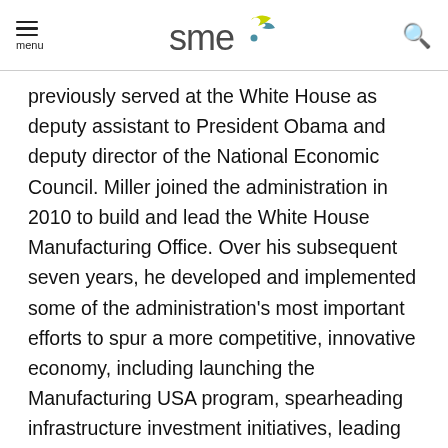menu | SME logo | search
previously served at the White House as deputy assistant to President Obama and deputy director of the National Economic Council. Miller joined the administration in 2010 to build and lead the White House Manufacturing Office. Over his subsequent seven years, he developed and implemented some of the administration's most important efforts to spur a more competitive, innovative economy, including launching the Manufacturing USA program, spearheading infrastructure investment initiatives, leading the White House's efforts to provide Puerto Rico tools needed to address its economic and fiscal crisis, and developing and growing SelectUSA, the first-ever federal effort to bring job-creating investment to the U.S. from around the world. Miller was previously a management consultant for The Boston Consulting Group and Marakon Associates, where he advised leading companies on